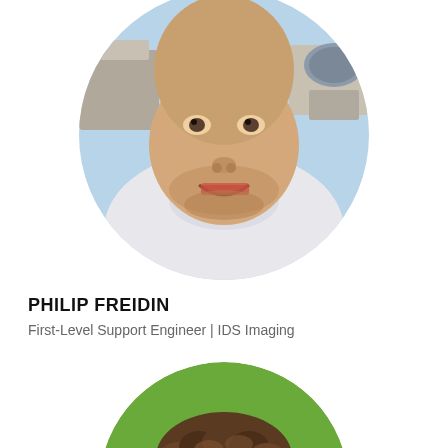[Figure (photo): Circular cropped profile photo of Philip Freidin, a man with stubble smiling, wearing a white t-shirt, with rooftop HVAC units and blue sky in the background.]
PHILIP FREIDIN
First-Level Support Engineer | IDS Imaging
[Figure (photo): Circular cropped profile photo of a second person, showing the top of their head with brown curly hair against a green background.]